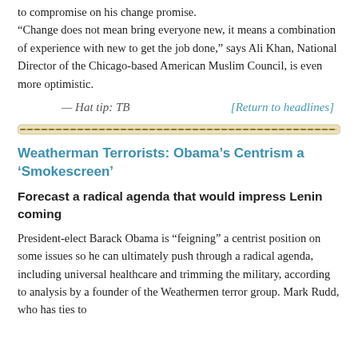to compromise on his change promise.
“Change does not mean bring everyone new, it means a combination of experience with new to get the job done,” says Ali Khan, National Director of the Chicago-based American Muslim Council, is even more optimistic.
— Hat tip: TB	[Return to headlines]
[Figure (other): Horizontal decorative dashed/dotted divider line in olive/brown color]
Weatherman Terrorists: Obama’s Centrism a ‘Smokescreen’
Forecast a radical agenda that would impress Lenin coming
President-elect Barack Obama is “feigning” a centrist position on some issues so he can ultimately push through a radical agenda, including universal healthcare and trimming the military, according to analysis by a founder of the Weathermen terror group. Mark Rudd, who has ties to